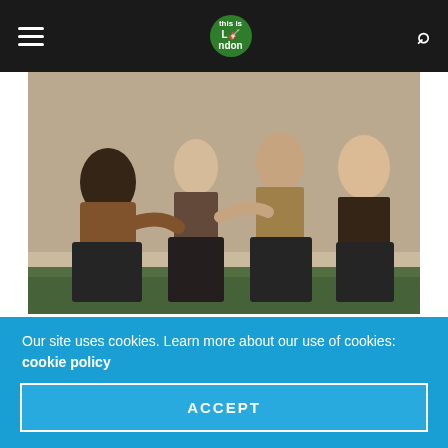Navigation bar with hamburger menu, site logo, and search icon
[Figure (photo): Four members of Måneskin band posing together, sitting on grass, wearing stylish outfits including leopard print and gold/tan tops]
Måneskin have shared their cover of 'If I Can Dream' from the soundtrack of the Baz Luhrmann-directed new movie Elvis.
The band previously teased the track, during their performance
Our site uses cookies. Learn more about our use of cookies: cookie policy
ACCEPT